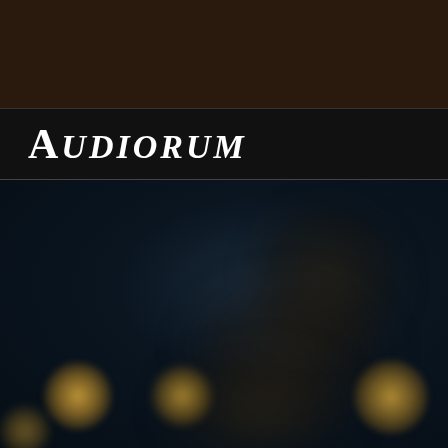[Figure (other): Dark brown top banner/header background]
AUDIORUM
[Figure (photo): Dark atmospheric background photo with blurred bokeh lights (warm golden circles) and a shadowy figure, predominantly dark navy blue tones with dark brown shapes in center-right, evoking a concert or nighttime scene]